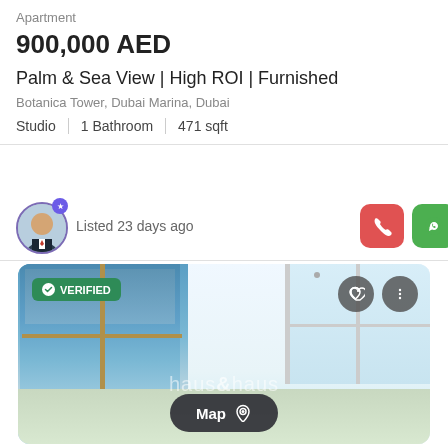Apartment
900,000 AED
Palm & Sea View | High ROI | Furnished
Botanica Tower, Dubai Marina, Dubai
Studio  |  1 Bathroom  |  471 sqft
Listed 23 days ago
[Figure (photo): Interior photo of an empty furnished apartment studio in Botanica Tower, Dubai Marina, showing floor-to-ceiling windows with city views, white walls, and tiled floors. Shows VERIFIED badge, haus&haus watermark, heart and more action buttons, and a Map button at bottom.]